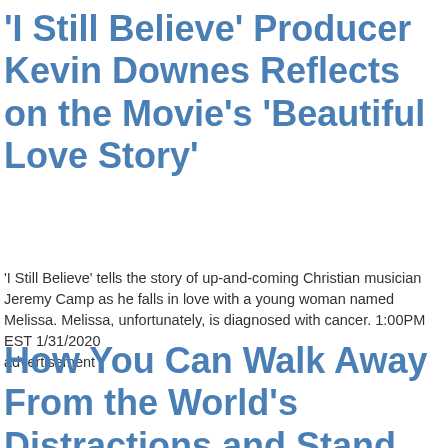'I Still Believe' Producer Kevin Downes Reflects on the Movie's 'Beautiful Love Story'
'I Still Believe' tells the story of up-and-coming Christian musician Jeremy Camp as he falls in love with a young woman named Melissa. Melissa, unfortunately, is diagnosed with cancer. 1:00PM EST 1/31/2020
advertisement
How You Can Walk Away From the World's Distractions and Stand